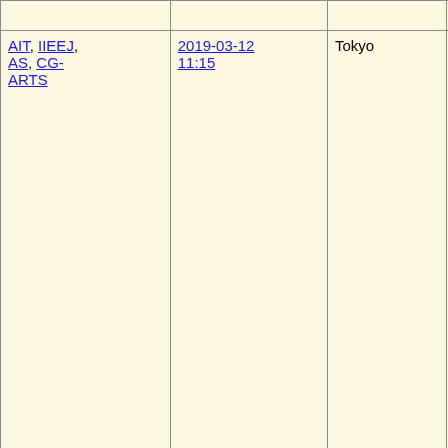| Organizations | Date/Time | City | Venue | Title/Authors |
| --- | --- | --- | --- | --- |
| AIT, IIEEJ, AS, CG-ARTS | 2019-03-12 11:15 | Tokyo | Waseda Univ. | Variation of Perception by Blur Effect Insides and Boundaries Objects Ryota Kan... Peeraya S... Takashi Iji... |
| HI, VRPSY | 2018-12-15 11:35 | Fukuoka | Kokura Campus, Univ. Kitakyushu | The effect posture on spatial transforma... Nozomu K... (UMC) |
| SIP, ME | 2017-11-26 16:00 | Kagoshima | NIFS | [Invited Ta... of Sensory Information Integration... Environment... Individual... in Visual L... Examples Aftereffect... |